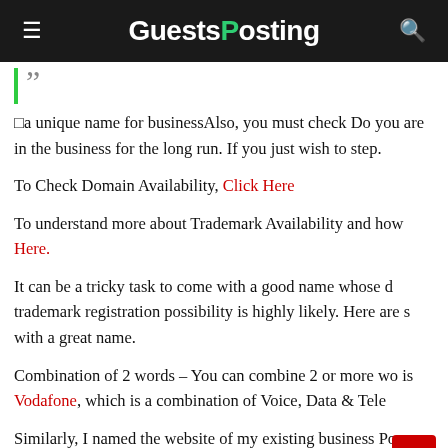GuestsPosting
” a unique name for businessAlso, you must check Do you are in the business for the long run. If you just wish to step.
To Check Domain Availability, Click Here
To understand more about Trademark Availability and how Here.
It can be a tricky task to come with a good name whose d trademark registration possibility is highly likely. Here are s with a great name.
Combination of 2 words – You can combine 2 or more wo is Vodafone, which is a combination of Voice, Data & Tele
Similarly, I named the website of my existing business Po a combination of 'Premium range of Popular Products'.